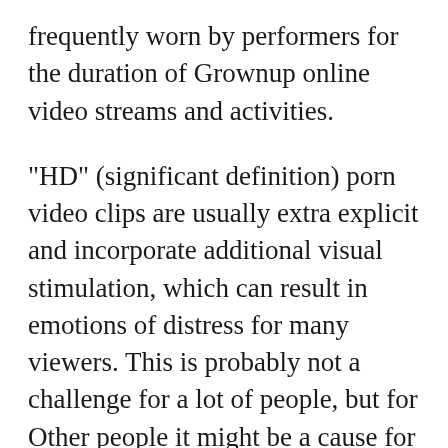frequently worn by performers for the duration of Grownup online video streams and activities.
"HD" (significant definition) porn video clips are usually extra explicit and incorporate additional visual stimulation, which can result in emotions of distress for many viewers. This is probably not a challenge for a lot of people, but for Other people it might be a cause for premature ejaculation. Viewers who experience they can not watch "hd xxx" resulting from technological limits may well use totally free online video streaming Sites. Some adult websites give